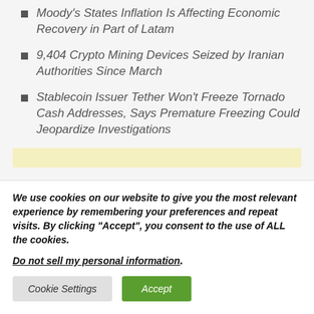Moody's States Inflation Is Affecting Economic Recovery in Part of Latam
9,404 Crypto Mining Devices Seized by Iranian Authorities Since March
Stablecoin Issuer Tether Won't Freeze Tornado Cash Addresses, Says Premature Freezing Could Jeopardize Investigations
We use cookies on our website to give you the most relevant experience by remembering your preferences and repeat visits. By clicking “Accept”, you consent to the use of ALL the cookies.
Do not sell my personal information.